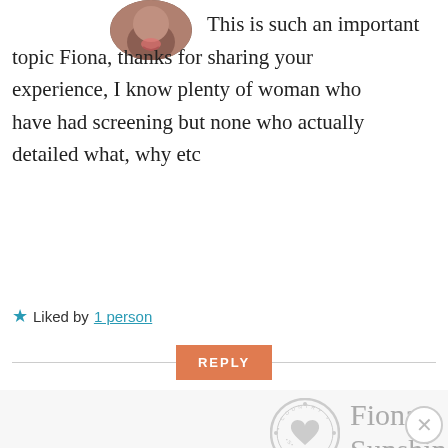[Figure (photo): Circular avatar photo of a person making a kiss face, positioned at top center-left]
This is such an important topic Fiona, thanks for sharing your experience, I know plenty of woman who have had screening but none who actually detailed what, why etc
★ Liked by 1 person
REPLY
[Figure (logo): Country Sunshine circular logo with heart, greyed out]
Fiona, Sunshine,
Advertisements
[Figure (screenshot): DuckDuckGo advertisement banner: Search, browse, and email with more privacy. All in One Free App]